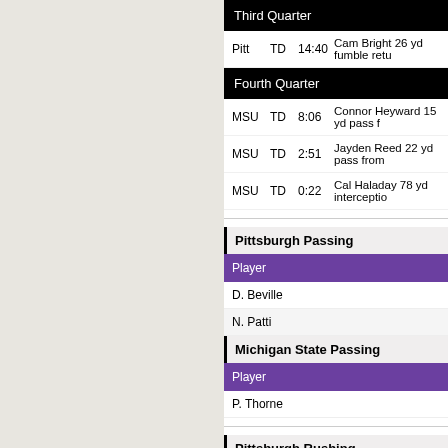Third Quarter
| Team | Type | Time | Description |
| --- | --- | --- | --- |
| Pitt | TD | 14:40 | Cam Bright 26 yd fumble retu |
Fourth Quarter
| Team | Type | Time | Description |
| --- | --- | --- | --- |
| MSU | TD | 8:06 | Connor Heyward 15 yd pass f |
| MSU | TD | 2:51 | Jayden Reed 22 yd pass from |
| MSU | TD | 0:22 | Cal Haladay 78 yd interceptio |
Pittsburgh Passing
| Player |
| --- |
| D. Beville |
| N. Patti |
Michigan State Passing
| Player |
| --- |
| P. Thorne |
Pittsburgh Rushing
| Player |
| --- |